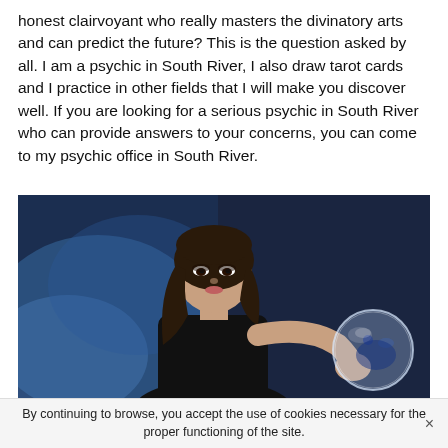honest clairvoyant who really masters the divinatory arts and can predict the future? This is the question asked by all. I am a psychic in South River, I also draw tarot cards and I practice in other fields that I will make you discover well. If you are looking for a serious psychic in South River who can provide answers to your concerns, you can come to my psychic office in South River.
[Figure (photo): A dark-haired woman in black clothing holding a crystal ball, against a dark blue smoky background, styled as a psychic/clairvoyant.]
By continuing to browse, you accept the use of cookies necessary for the proper functioning of the site.